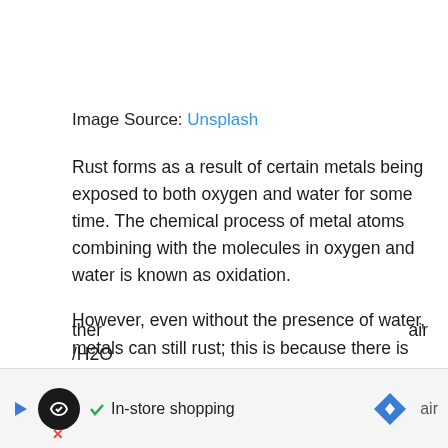Image Source: Unsplash
Rust forms as a result of certain metals being exposed to both oxygen and water for some time. The chemical process of metal atoms combining with the molecules in oxygen and water is known as oxidation.
However, even without the presence of water, metals can still rust; this is because there is already moisture in the air we breathe.
According to Julia Richards from Sciencing, ther... air /H2O...
[Figure (screenshot): Advertisement bar at bottom of page showing an in-store shopping ad with circular logo, checkmark, navigation diamond icon]